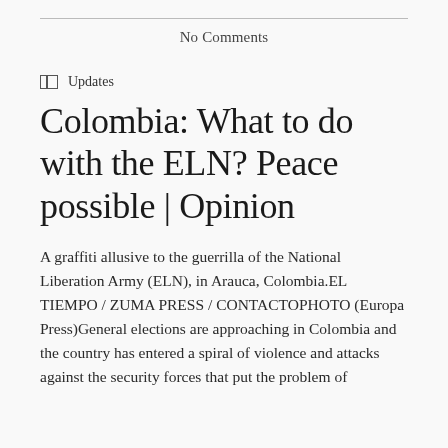No Comments
Updates
Colombia: What to do with the ELN? Peace possible | Opinion
A graffiti allusive to the guerrilla of the National Liberation Army (ELN), in Arauca, Colombia.EL TIEMPO / ZUMA PRESS / CONTACTOPHOTO (Europa Press)General elections are approaching in Colombia and the country has entered a spiral of violence and attacks against the security forces that put the problem of